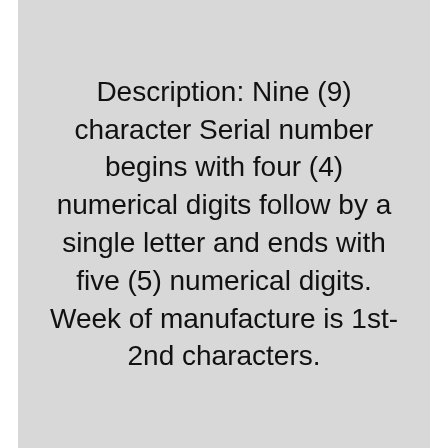Description: Nine (9) character Serial number begins with four (4) numerical digits follow by a single letter and ends with five (5) numerical digits.
Week of manufacture is 1st-2nd characters.